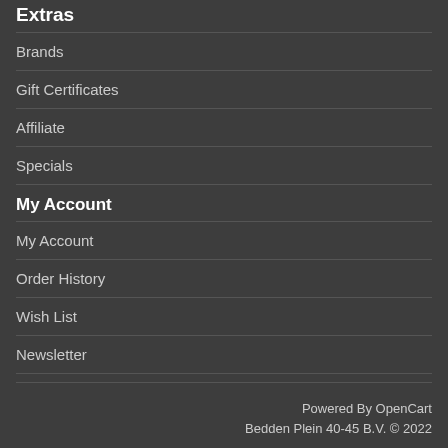Extras
Brands
Gift Certificates
Affiliate
Specials
My Account
My Account
Order History
Wish List
Newsletter
Powered By OpenCart
Bedden Plein 40-45 B.V. © 2022